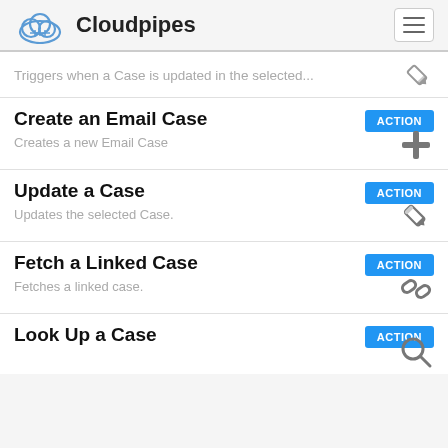Cloudpipes
Triggers when a Case is updated in the selected...
Create an Email Case
Creates a new Email Case
Update a Case
Updates the selected Case.
Fetch a Linked Case
Fetches a linked case.
Look Up a Case